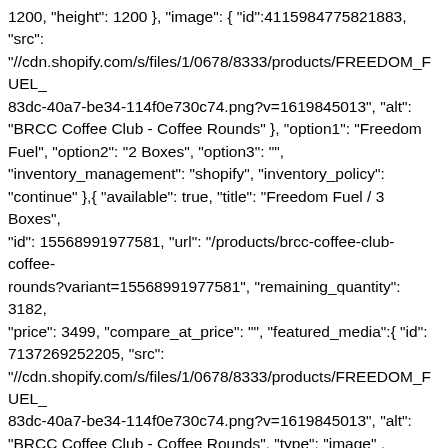1200, "height": 1200 }, "image": { "id":4115984775821883, "src": "//cdn.shopify.com/s/files/1/0678/8333/products/FREEDOM_FUEL_83dc-40a7-be34-114f0e730c74.png?v=1619845013", "alt": "BRCC Coffee Club - Coffee Rounds" }, "option1": "Freedom Fuel", "option2": "2 Boxes", "option3": "", "inventory_management": "shopify", "inventory_policy": "continue" },{ "available": true, "title": "Freedom Fuel / 3 Boxes", "id": 15568991977581, "url": "/products/brcc-coffee-club-coffee-rounds?variant=15568991977581", "remaining_quantity": 3182, "price": 3499, "compare_at_price": "", "featured_media":{ "id": 7137269252205, "src": "//cdn.shopify.com/s/files/1/0678/8333/products/FREEDOM_FUEL_83dc-40a7-be34-114f0e730c74.png?v=1619845013", "alt": "BRCC Coffee Club - Coffee Rounds", "type": "image" , "width": 1200, "height": 1200 }, "image": { "id":14966477521005, "src": "//cdn.shopify.com/s/files/1/0678/8333/products/FREEDOM_FUEL_83dc-40a7-be34-114f0e730c74.png?v=1619845013", "alt": "BRCC Coffee Club - Coffee Rounds" }, "option1": "Freedom Fuel", "option2": "3 Boxes", "option3": "", "inventory_management": "shopify", "inventory_policy": "continue" },{ "available": true, "title": "Freedom Fuel / 4 Boxes", "id": 15569082384493, "url": "/products/brcc-coffee-club-coffee-rounds?variant=15569082384493", "remaining_quantity": 3421, "price": 4499, "compare_at_price": "", "featured_media":{ "id": 7137269252205, "src": "//cdn.shopify.com/s/files/1/0678/8333/products/FREEDOM_FUEL_